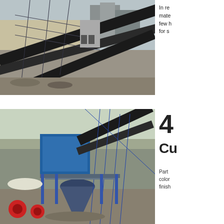[Figure (photo): Industrial conveyor belt and mining/crushing plant equipment with metal framework structures, outdoor setting]
In re mate few b for s
[Figure (photo): CCM-branded crushing and screening plant with blue machinery, cone crusher, conveyors, and industrial equipment outdoors]
4
Cu
Part color finish